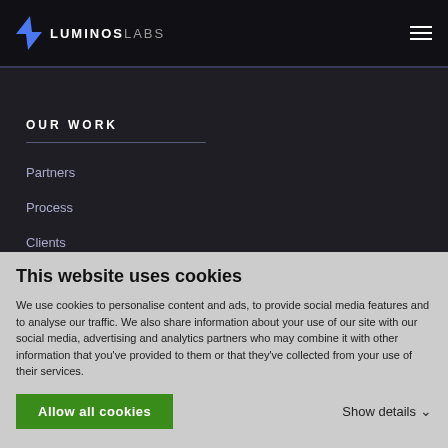LUMINOSLABS
OUR WORK
Partners
Process
Clients
RESOURCES
GET IN CONTACT
POLICIES
This website uses cookies
We use cookies to personalise content and ads, to provide social media features and to analyse our traffic. We also share information about your use of our site with our social media, advertising and analytics partners who may combine it with other information that you've provided to them or that they've collected from your use of their services.
Allow all cookies
Show details